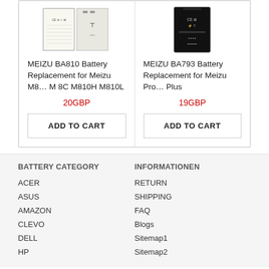[Figure (photo): Product image of MEIZU BA810 battery replacement showing two battery views]
MEIZU BA810 Battery Replacement for Meizu M8… M 8C M810H M810L
20GBP
ADD TO CART
[Figure (photo): Product image of MEIZU BA793 battery replacement showing black battery]
MEIZU BA793 Battery Replacement for Meizu Pro… Plus
19GBP
ADD TO CART
BATTERY CATEGORY
INFORMATIONEN
ACER
RETURN
ASUS
SHIPPING
AMAZON
FAQ
CLEVO
Blogs
DELL
Sitemap1
HP
Sitemap2